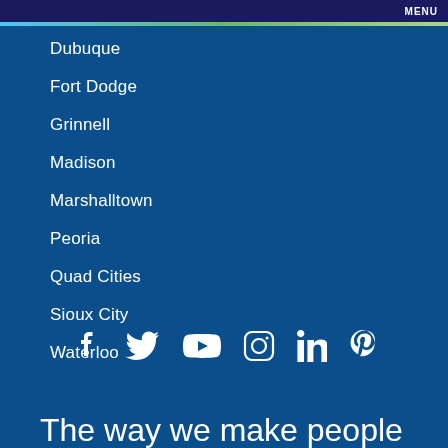MENU
Dubuque
Fort Dodge
Grinnell
Madison
Marshalltown
Peoria
Quad Cities
Sioux City
Waterloo
[Figure (infographic): Social media icons: Facebook, Twitter, YouTube, Instagram, LinkedIn, Pinterest]
The way we make people